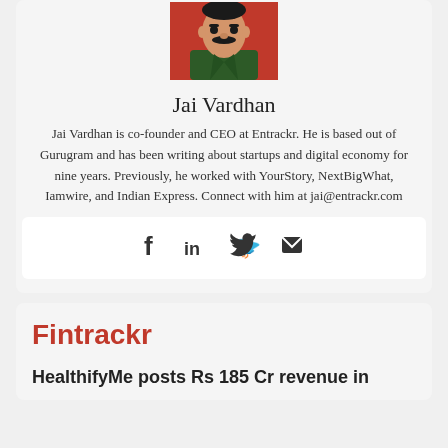[Figure (illustration): Illustrated avatar/portrait of Jai Vardhan on a red background, showing a man with a mustache in a green shirt]
Jai Vardhan
Jai Vardhan is co-founder and CEO at Entrackr. He is based out of Gurugram and has been writing about startups and digital economy for nine years. Previously, he worked with YourStory, NextBigWhat, Iamwire, and Indian Express. Connect with him at jai@entrackr.com
[Figure (infographic): Social media icons: Facebook, LinkedIn, Twitter, Email]
Fintrackr
HealthifyMe posts Rs 185 Cr revenue in